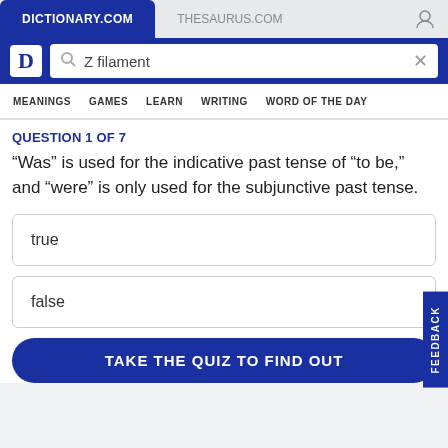DICTIONARY.COM    THESAURUS.COM
[Figure (screenshot): Dictionary.com logo with letter D]
Z filament
MEANINGS   GAMES   LEARN   WRITING   WORD OF THE DAY
QUESTION 1 OF 7
“Was” is used for the indicative past tense of “to be,” and “were” is only used for the subjunctive past tense.
true
false
TAKE THE QUIZ TO FIND OUT